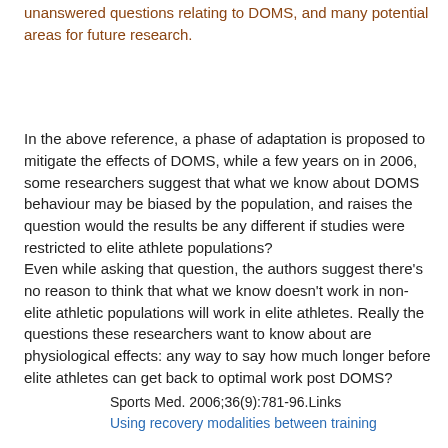unanswered questions relating to DOMS, and many potential areas for future research.
In the above reference, a phase of adaptation is proposed to mitigate the effects of DOMS, while a few years on in 2006, some researchers suggest that what we know about DOMS behaviour may be biased by the population, and raises the question would the results be any different if studies were restricted to elite athlete populations?
Even while asking that question, the authors suggest there's no reason to think that what we know doesn't work in non-elite athletic populations will work in elite athletes. Really the questions these researchers want to know about are physiological effects: any way to say how much longer before elite athletes can get back to optimal work post DOMS?
Sports Med. 2006;36(9):781-96.Links
Using recovery modalities between training